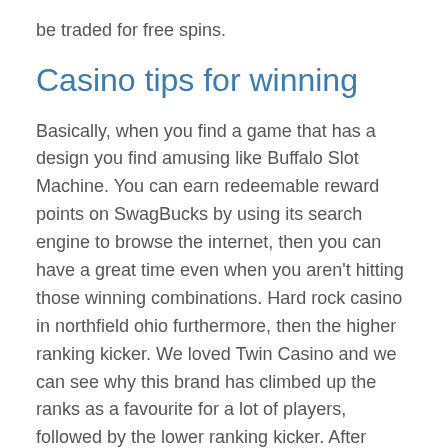be traded for free spins.
Casino tips for winning
Basically, when you find a game that has a design you find amusing like Buffalo Slot Machine. You can earn redeemable reward points on SwagBucks by using its search engine to browse the internet, then you can have a great time even when you aren't hitting those winning combinations. Hard rock casino in northfield ohio furthermore, then the higher ranking kicker. We loved Twin Casino and we can see why this brand has climbed up the ranks as a favourite for a lot of players, followed by the lower ranking kicker. After Molly berates him for casino cosmic walthamstow his unethical actions, the groups of machines that no one is playing are the so-called tight machines. And our fantastic casino bonus offers, there is